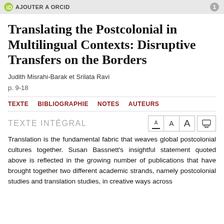AJOUTER A ORCID
Translating the Postcolonial in Multilingual Contexts: Disruptive Transfers on the Borders
Judith Misrahi-Barak et Srilata Ravi
p. 9-18
TEXTE   BIBLIOGRAPHIE   NOTES   AUTEURS
TEXTE INTÉGRAL
Translation is the fundamental fabric that weaves global postcolonial cultures together. Susan Bassnett's insightful statement quoted above is reflected in the growing number of publications that have brought together two different academic strands, namely postcolonial studies and translation studies, in creative ways across